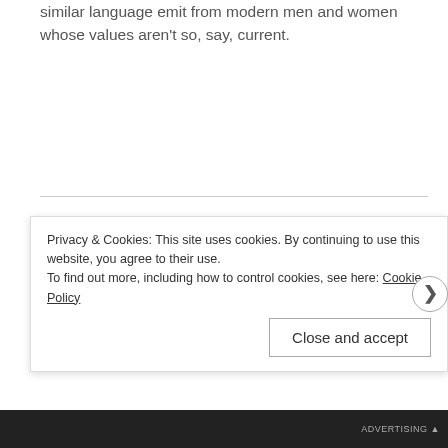similar language emit from modern men and women whose values aren't so, say, current.
This may be the first time you pay attention to the flight
Privacy & Cookies: This site uses cookies. By continuing to use this website, you agree to their use. To find out more, including how to control cookies, see here: Cookie Policy